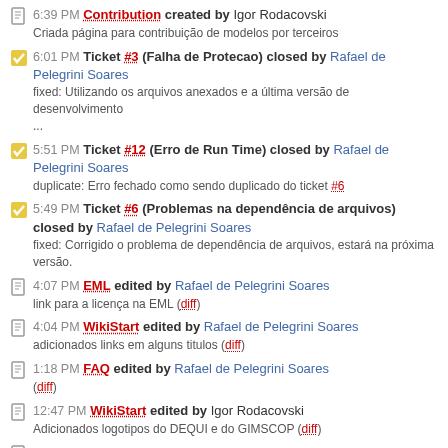6:39 PM Contribution created by Igor Rodacovski
Criada página para contribuição de modelos por terceiros
6:01 PM Ticket #3 (Falha de Protecao) closed by Rafael de Pelegrini Soares
fixed: Utilizando os arquivos anexados e a última versão de desenvolvimento ...
5:51 PM Ticket #12 (Erro de Run Time) closed by Rafael de Pelegrini Soares
duplicate: Erro fechado como sendo duplicado do ticket #6
5:49 PM Ticket #6 (Problemas na dependência de arquivos) closed by Rafael de Pelegrini Soares
fixed: Corrigido o problema de dependência de arquivos, estará na próxima versão.
4:07 PM EML edited by Rafael de Pelegrini Soares
link para a licença na EML (diff)
4:04 PM WikiStart edited by Rafael de Pelegrini Soares
adicionados links em alguns titulos (diff)
1:18 PM FAQ edited by Rafael de Pelegrini Soares
(diff)
12:47 PM WikiStart edited by Igor Rodacovski
Adicionados logotipos do DEQUI e do GIMSCOP (diff)
12:43 PM Support created by Igor Rodacovski